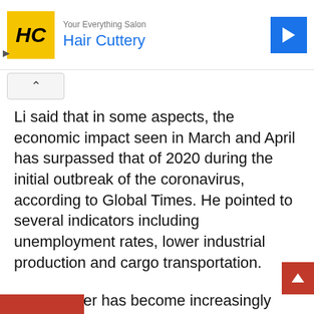[Figure (other): Hair Cuttery advertisement banner with yellow HC logo, blue brand name 'Hair Cuttery', and blue navigation arrow icon]
Li said that in some aspects, the economic impact seen in March and April has surpassed that of 2020 during the initial outbreak of the coronavirus, according to Global Times. He pointed to several indicators including unemployment rates, lower industrial production and cargo transportation.
The premier has become increasingly vocal about the economic downturn in recent weeks, calling the situation “complex and grave” earlier in May – but Wednesday’s comments may paint the grimmest picture yet.